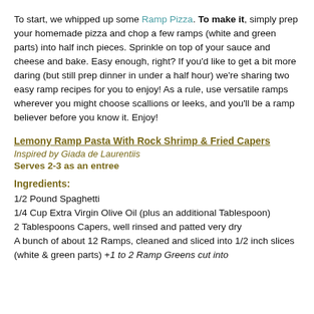To start, we whipped up some Ramp Pizza. To make it, simply prep your homemade pizza and chop a few ramps (white and green parts) into half inch pieces. Sprinkle on top of your sauce and cheese and bake. Easy enough, right? If you'd like to get a bit more daring (but still prep dinner in under a half hour) we're sharing two easy ramp recipes for you to enjoy! As a rule, use versatile ramps wherever you might choose scallions or leeks, and you'll be a ramp believer before you know it. Enjoy!
Lemony Ramp Pasta With Rock Shrimp & Fried Capers
Inspired by Giada de Laurentiis
Serves 2-3 as an entree
Ingredients:
1/2 Pound Spaghetti
1/4 Cup Extra Virgin Olive Oil (plus an additional Tablespoon)
2 Tablespoons Capers, well rinsed and patted very dry
A bunch of about 12 Ramps, cleaned and sliced into 1/2 inch slices (white & green parts) +1 to 2 Ramp Greens cut into